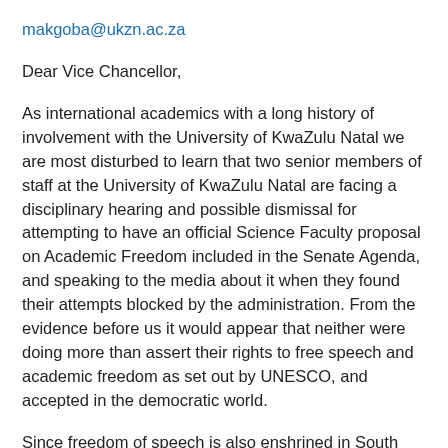makgoba@ukzn.ac.za
Dear Vice Chancellor,
As international academics with a long history of involvement with the University of KwaZulu Natal we are most disturbed to learn that two senior members of staff at the University of KwaZulu Natal are facing a disciplinary hearing and possible dismissal for attempting to have an official Science Faculty proposal on Academic Freedom included in the Senate Agenda, and speaking to the media about it when they found their attempts blocked by the administration. From the evidence before us it would appear that neither were doing more than assert their rights to free speech and academic freedom as set out by UNESCO, and accepted in the democratic world.
Since freedom of speech is also enshrined in South Africa's constitution, these proceedings are surely extraordinary. That the administration should seek to take such action against two senior members of staff strikes at the free intellectual enquiry which is at the heart of the university and